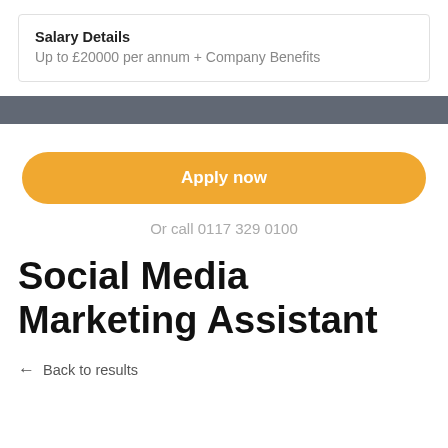Salary Details
Up to £20000 per annum + Company Benefits
[Figure (other): Gray horizontal bar divider]
Apply now
Or call 0117 329 0100
Social Media Marketing Assistant
← Back to results